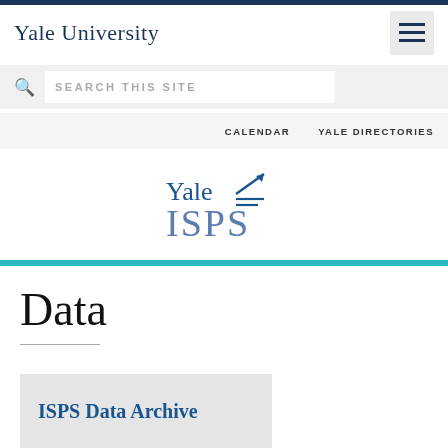Yale University
SEARCH THIS SITE
CALENDAR   YALE DIRECTORIES
[Figure (logo): Yale ISPS logo with upward arrow graphic and horizontal lines]
Data
ISPS Data Archive